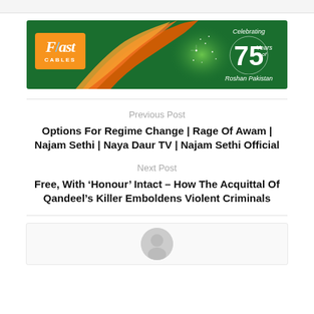[Figure (other): Fast Cables advertisement banner on green background with orange flame ribbon, glowing stars, and '75 Years of Roshan Pakistan' badge]
Previous Post
Options For Regime Change | Rage Of Awam | Najam Sethi | Naya Daur TV | Najam Sethi Official
Next Post
Free, With ‘Honour’ Intact – How The Acquittal Of Qandeel’s Killer Emboldens Violent Criminals
[Figure (photo): Author avatar placeholder (gray circle, partially visible at bottom)]